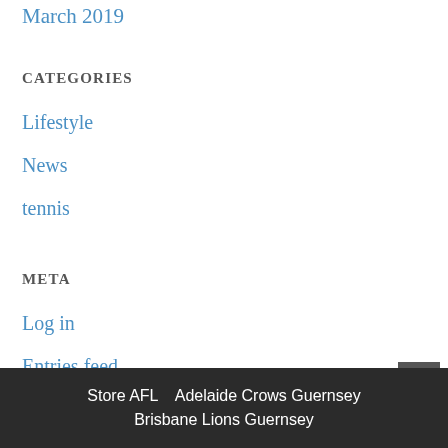March 2019
CATEGORIES
Lifestyle
News
tennis
META
Log in
Entries feed
Comments feed
WordPress.org
Store AFL   Adelaide Crows Guernsey Brisbane Lions Guernsey